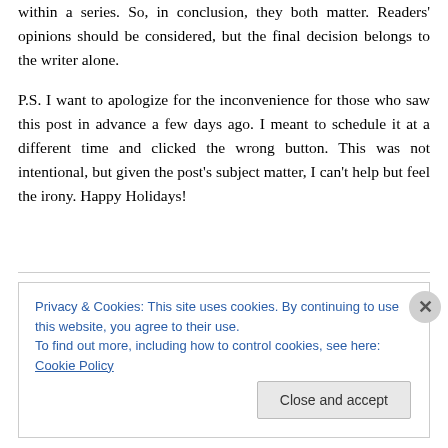within a series. So, in conclusion, they both matter. Readers' opinions should be considered, but the final decision belongs to the writer alone.
P.S. I want to apologize for the inconvenience for those who saw this post in advance a few days ago. I meant to schedule it at a different time and clicked the wrong button. This was not intentional, but given the post's subject matter, I can't help but feel the irony. Happy Holidays!
Privacy & Cookies: This site uses cookies. By continuing to use this website, you agree to their use. To find out more, including how to control cookies, see here: Cookie Policy